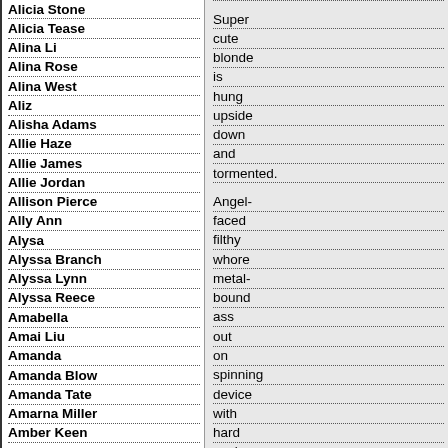Alicia Stone
Alicia Tease
Alina Li
Alina Rose
Alina West
Aliz
Alisha Adams
Allie Haze
Allie James
Allie Jordan
Allison Pierce
Ally Ann
Alysa
Alyssa Branch
Alyssa Lynn
Alyssa Reece
Amabella
Amai Liu
Amanda
Amanda Blow
Amanda Tate
Amarna Miller
Amber Keen
Amber Michaels
Amber Nevada
Amber Rayne
Amelia
Ami Emerson
Super cute blonde is hung upside down and tormented. Angel-faced filthy whore metal-bound ass out on spinning device with hard caning and pussy clamps.